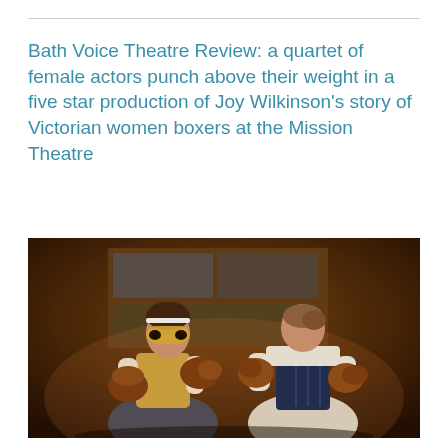Bath Voice Theatre Review: a quartet of female actors punch above their weight in a five star production of Joy Wilkinson's story of Victorian women boxers at the Mission Theatre
[Figure (photo): Two female actors in Victorian costume wearing boxing gloves, squaring off against each other on stage. The left actor wears a gold corset and masquerade mask with brown boxing gloves. The right actor wears a blue/black corset and white blouse, viewed from behind, also with boxing gloves raised. Stage backdrop shows projected vintage imagery.]